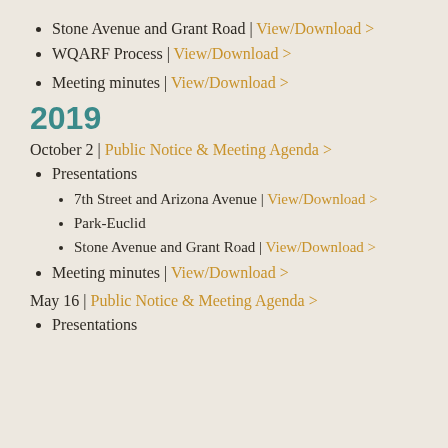Stone Avenue and Grant Road | View/Download >
WQARF Process | View/Download >
Meeting minutes | View/Download >
2019
October 2 | Public Notice & Meeting Agenda >
Presentations
7th Street and Arizona Avenue | View/Download >
Park-Euclid
Stone Avenue and Grant Road | View/Download >
Meeting minutes | View/Download >
May 16 | Public Notice & Meeting Agenda >
Presentations